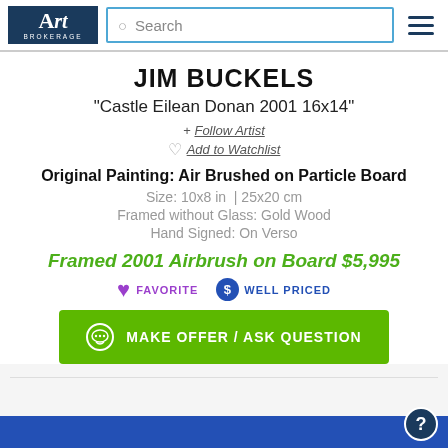Art Brokerage | Search
JIM BUCKELS
"Castle Eilean Donan 2001 16x14"
+ Follow Artist
♡ Add to Watchlist
Original Painting: Air Brushed on Particle Board
Size: 10x8 in  | 25x20 cm
Framed without Glass: Gold Wood
Hand Signed: On Verso
Framed 2001 Airbrush on Board $5,995
FAVORITE   WELL PRICED
MAKE OFFER / ASK QUESTION